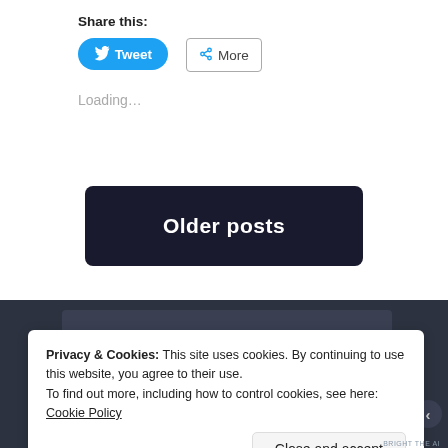Share this:
[Figure (screenshot): Tweet button (blue, with Twitter bird icon) and More button (outlined, with share icon)]
Loading...
Older posts
[Figure (screenshot): Dark footer background with a dark inner rectangle (search bar area)]
Privacy & Cookies: This site uses cookies. By continuing to use this website, you agree to their use.
To find out more, including how to control cookies, see here: Cookie Policy
Close and accept